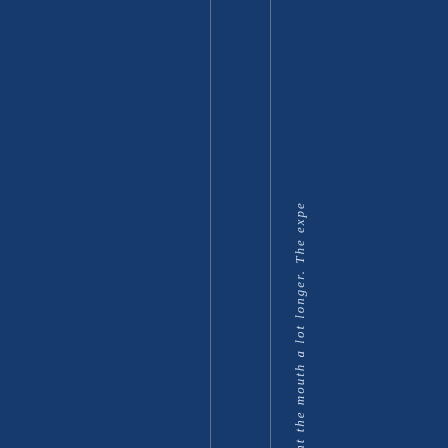s t i n t h e m o u t h a l o t l o n g e r . T h e e x p e